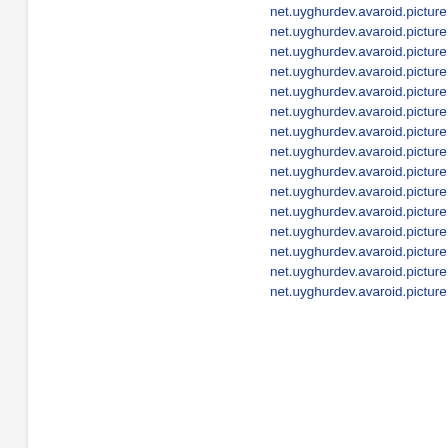net.uyghurdev.avaroid.picture
net.uyghurdev.avaroid.picture
net.uyghurdev.avaroid.picture
net.uyghurdev.avaroid.picture
net.uyghurdev.avaroid.picture
net.uyghurdev.avaroid.picture
net.uyghurdev.avaroid.picture
net.uyghurdev.avaroid.picture
net.uyghurdev.avaroid.picture
net.uyghurdev.avaroid.picture
net.uyghurdev.avaroid.picture
net.uyghurdev.avaroid.picture
net.uyghurdev.avaroid.picture
net.uyghurdev.avaroid.picture
net.uyghurdev.avaroid.picture